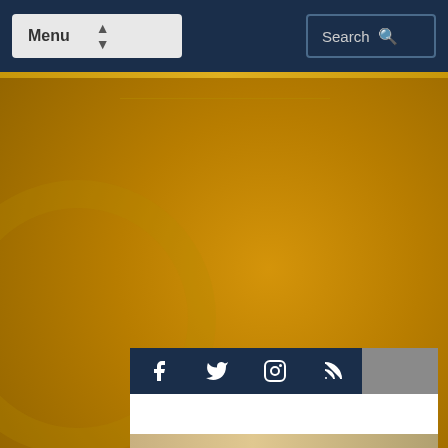Menu | Search
[Figure (screenshot): Social media icons bar with Facebook, Twitter, Instagram, and RSS feed icons on dark navy background]
PRESS RELEASE: Staff Update
Photos: Renee Long Photography
[Figure (photo): Group photo of people wearing pink jerseys/bibs outdoors, with three people circled]